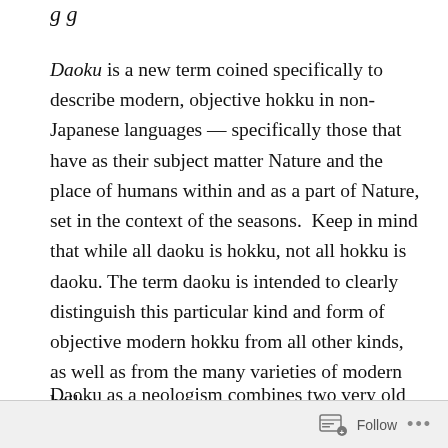g g
Daoku is a new term coined specifically to describe modern, objective hokku in non- Japanese languages — specifically those that have as their subject matter Nature and the place of humans within and as a part of Nature, set in the context of the seasons.  Keep in mind that while all daoku is hokku, not all hokku is daoku.  The term daoku is intended to clearly distinguish this particular kind and form of  objective modern hokku from all other kinds, as well as from the many varieties of modern haiku.
Daoku as a neologism combines two very old words:
Follow ...